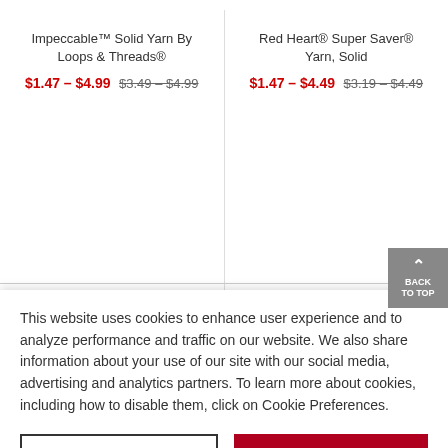Impeccable™ Solid Yarn By Loops & Threads®
Red Heart® Super Saver® Yarn, Solid
$1.47 - $4.99   $3.49 - $4.99
$1.47 - $4.49   $3.19 - $4.49
This website uses cookies to enhance user experience and to analyze performance and traffic on our website. We also share information about your use of our site with our social media, advertising and analytics partners. To learn more about cookies, including how to disable them, click on Cookie Preferences.
Cookie Preferences
Got It
Rating Snapshot